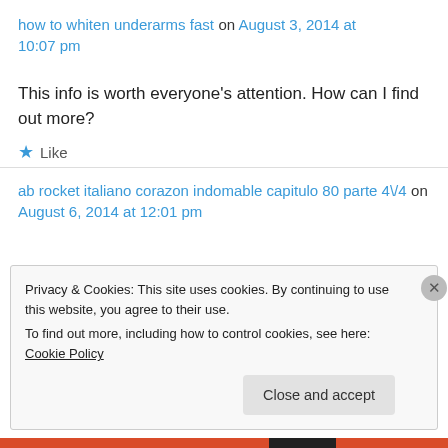how to whiten underarms fast on August 3, 2014 at 10:07 pm
This info is worth everyone’s attention. How can I find out more?
★ Like
ab rocket italiano corazon indomable capitulo 80 parte 4\/4 on August 6, 2014 at 12:01 pm
Privacy & Cookies: This site uses cookies. By continuing to use this website, you agree to their use.
To find out more, including how to control cookies, see here: Cookie Policy
Close and accept